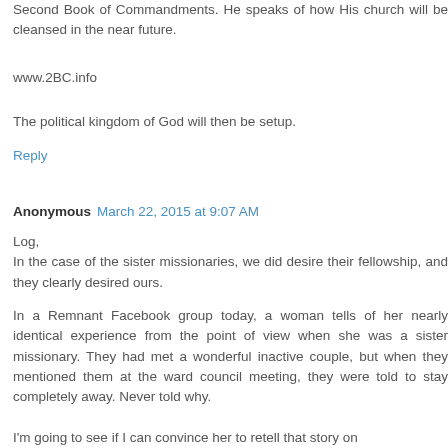Second Book of Commandments. He speaks of how His church will be cleansed in the near future.
www.2BC.info
The political kingdom of God will then be setup.
Reply
Anonymous  March 22, 2015 at 9:07 AM
Log,
In the case of the sister missionaries, we did desire their fellowship, and they clearly desired ours.
In a Remnant Facebook group today, a woman tells of her nearly identical experience from the point of view when she was a sister missionary. They had met a wonderful inactive couple, but when they mentioned them at the ward council meeting, they were told to stay completely away. Never told why.
I'm going to see if I can convince her to retell that story on